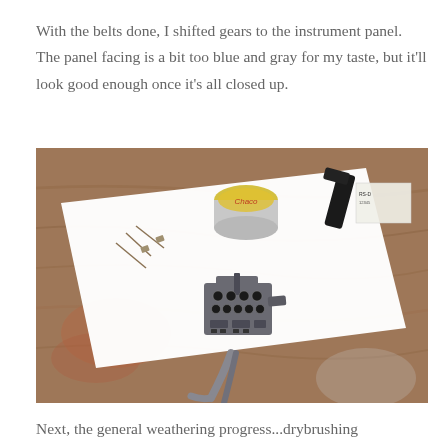With the belts done, I shifted gears to the instrument panel. The panel facing is a bit too blue and gray for my taste, but it'll look good enough once it's all closed up.
[Figure (photo): A small scale model aircraft instrument panel held by pliers/tweezers on a white sheet of paper over a wooden workbench. In the background are small model parts, a yellow-lidded paint tin, and a black tool. The instrument panel is gray with multiple small circular gauges.]
Next, the general weathering progress...drybrushing